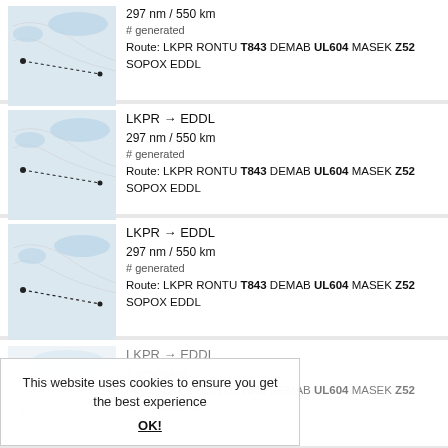[Figure (map): Map showing flight route from LKPR to EDDL with dotted line]
LKPR → EDDL
297 nm / 550 km
# generated
Route: LKPR RONTU T843 DEMAB UL604 MASEK Z52 SOPOX EDDL
[Figure (map): Map showing flight route from LKPR to EDDL with dotted line]
LKPR → EDDL
297 nm / 550 km
# generated
Route: LKPR RONTU T843 DEMAB UL604 MASEK Z52 SOPOX EDDL
[Figure (map): Map showing flight route from LKPR to EDDL with dotted line]
LKPR → EDDL
297 nm / 550 km
# generated
Route: LKPR RONTU T843 DEMAB UL604 MASEK Z52 SOPOX EDDL
[Figure (map): Partial map showing flight route from LKPR to EDDL (partially obscured by cookie banner)]
LKPR → EDDL
# generating
Route: LKPR RONTU T843 DEMAB UL604 MASEK Z52 SOPOX EDDL
This website uses cookies to ensure you get the best experience
OK!